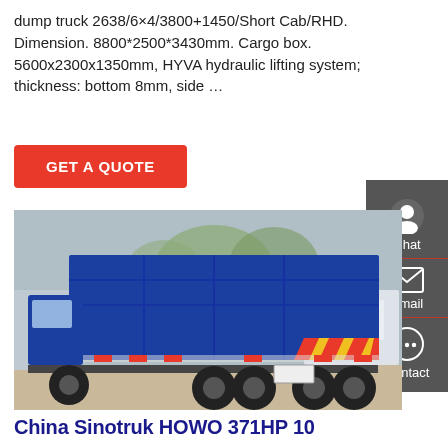dump truck 2638/6×4/3800+1450/Short Cab/RHD. Dimension. 8800*2500*3430mm. Cargo box. 5600x2300x1350mm, HYVA hydraulic lifting system; thickness: bottom 8mm, side …
[Figure (other): Red 'GET A QUOTE' call-to-action button]
[Figure (photo): Blue Sinotruk HOWO dump truck photographed from rear-left angle in an outdoor yard, showing large cargo box with yellow-red reflective chevron strips on tailgate and six rear wheels.]
China Sinotruk HOWO 371HP 10